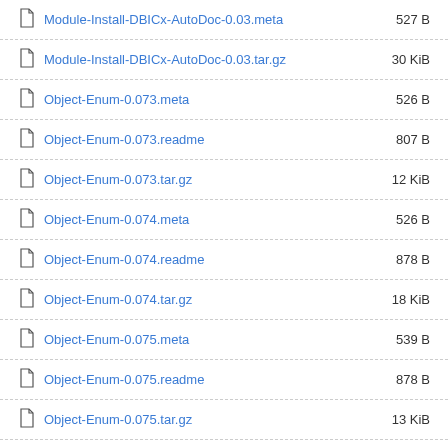Module-Install-DBICx-AutoDoc-0.03.meta  527 B
Module-Install-DBICx-AutoDoc-0.03.tar.gz  30 KiB
Object-Enum-0.073.meta  526 B
Object-Enum-0.073.readme  807 B
Object-Enum-0.073.tar.gz  12 KiB
Object-Enum-0.074.meta  526 B
Object-Enum-0.074.readme  878 B
Object-Enum-0.074.tar.gz  18 KiB
Object-Enum-0.075.meta  539 B
Object-Enum-0.075.readme  878 B
Object-Enum-0.075.tar.gz  13 KiB
REST-Cot-0.001.meta  488 B